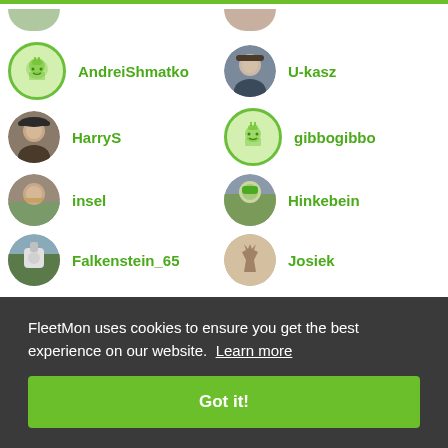AndreiShmatko
U-kasz
HarryS
gibbogibbo
insel
Hinkebein
Falkenstein_65
Josiek
FleetMon uses cookies to ensure you get the best experience on our website. Learn more
Got it!